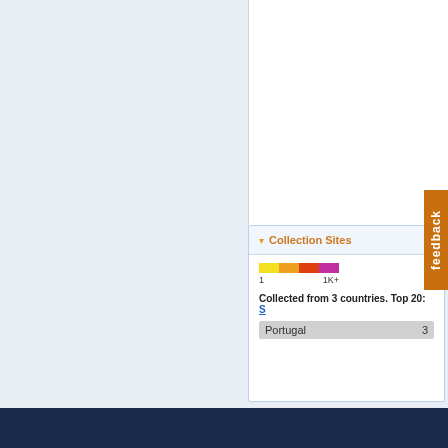Collection Sites
[Figure (infographic): Color gradient scale bar from yellow (1) to purple (1K+) representing collection site density]
Collected from 3 countries. Top 20: S...
| Country | Count |
| --- | --- |
| Portugal | 3 |